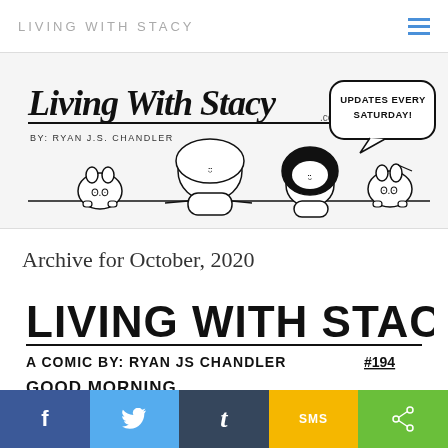LIVING WITH STACY
[Figure (illustration): Living With Stacy webcomic banner: hand-drawn logo 'Living With Stacy .com' by Ryan J.S. Chandler, with cartoon characters (two cats, a girl with long hair, a boy with afro) peeking over a ledge, and a speech bubble saying 'UPDATES EVERY SATURDAY!']
Archive for October, 2020
[Figure (illustration): Living With Stacy comic header: large bold text 'LIVING WITH STACY', subtitle 'A COMIC BY: RYAN JS CHANDLER' and '#194', followed by 'GOOD MORNING' panel start with RJSC'20 signature]
f  t  SMS  share